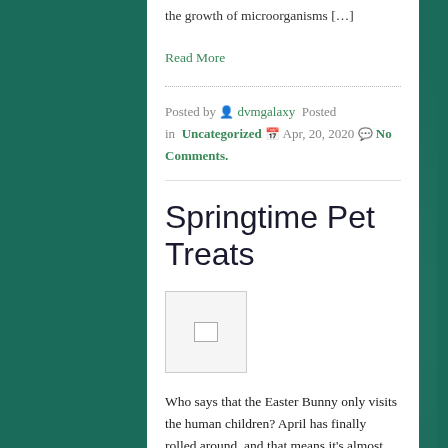the growth of microorganisms […]
Read More
Posted by dvmgalaxy Posted in Uncategorized Apr, 20, 2020 No Comments.
Springtime Pet Treats
[Figure (photo): Broken image placeholder icon]
Who says that the Easter Bunny only visits the human children? April has finally rolled around, and that means it's almost time for the Easter Bunny to visit! With the…